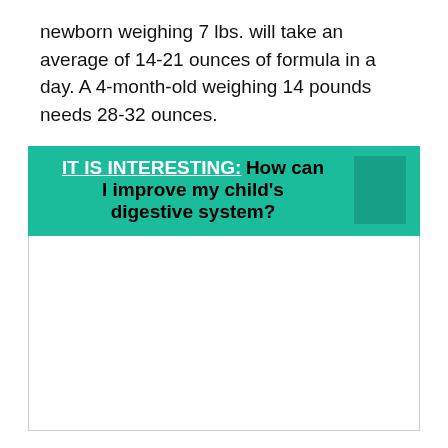newborn weighing 7 lbs. will take an average of 14-21 ounces of formula in a day. A 4-month-old weighing 14 pounds needs 28-32 ounces.
IT IS INTERESTING: How can I improve my child's digestive system?
[Figure (other): White content box with border, appears to be an embedded content area below the interesting box]